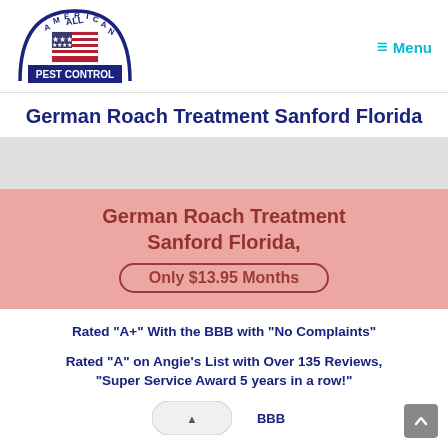[Figure (logo): All American Pest Control logo with American flag and arched text]
≡ Menu
German Roach Treatment Sanford Florida
[Figure (illustration): Grey banner / image placeholder area]
[Figure (infographic): Red semi-transparent promotional banner with text: German Roach Treatment Sanford Florida, Only $13.95 Months]
Rated "A+" With the BBB with "No Complaints"
Rated "A" on Angie's List with Over 135 Reviews, "Super Service Award 5 years in a row!"
[Figure (logo): Partial BBB logo at bottom]